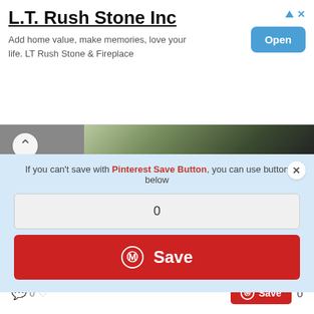[Figure (screenshot): Advertisement banner for L.T. Rush Stone Inc with Open button]
L.T. Rush Stone Inc
Add home value, make memories, love your life. LT Rush Stone & Fireplace
[Figure (photo): Partial photo of outdoor scene with plants/foliage at top]
If you can't save with Pinterest Save Button, you can use button below
0
Save
[Figure (photo): Photo of outdoor scene showing plants, foliage and wooden elements]
Crochet Vest Free Pattern
0
Save
0